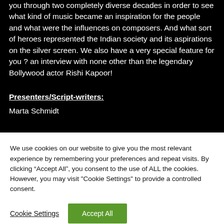you through two completely diverse decades in order to see what kind of music became an inspiration for the people and what were the influences on composers. And what sort of heroes represented the Indian society and its aspirations on the silver screen. We also have a very special feature for you ? an interview with none other than the legendary Bollywood actor Rishi Kapoor!
Presenters/Script-writers:
Marta Schmidt
We use cookies on our website to give you the most relevant experience by remembering your preferences and repeat visits. By clicking “Accept All”, you consent to the use of ALL the cookies. However, you may visit "Cookie Settings" to provide a controlled consent.
Cookie Settings
Accept All